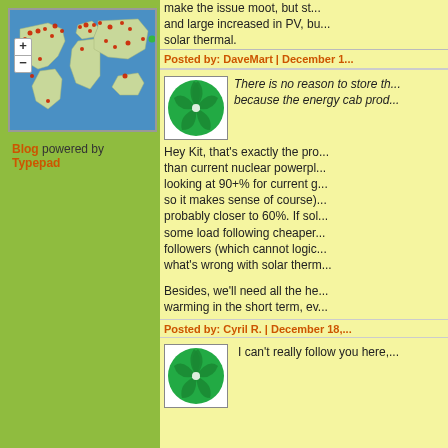[Figure (map): World map with zoom controls showing red dots marking locations across the globe, with green markers near center]
Blog powered by Typepad
make the issue moot, but st... and large increased in PV, bu... solar thermal.
Posted by: DaveMart | December 1...
[Figure (illustration): Green spiral/pinwheel avatar icon]
There is no reason to store th... because the energy cab prod...
Hey Kit, that's exactly the pro... than current nuclear powerpl... looking at 90+% for current g... so it makes sense of course)... probably closer to 60%. If sol... some load following cheaper... followers (which cannot logic... what's wrong with solar therm...
Besides, we'll need all the he... warming in the short term, ev...
Posted by: Cyril R. | December 18,...
[Figure (illustration): Green spiral/pinwheel avatar icon]
I can't really follow you here,...